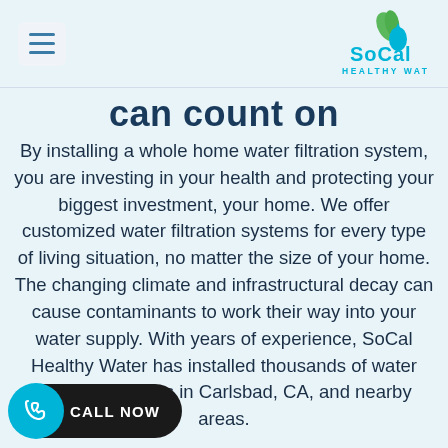[Figure (logo): SoCal Healthy Water logo with green leaf and blue water drop icon, teal text reading SoCal Healthy Water]
can count on
By installing a whole home water filtration system, you are investing in your health and protecting your biggest investment, your home. We offer customized water filtration systems for every type of living situation, no matter the size of your home. The changing climate and infrastructural decay can cause contaminants to work their way into your water supply. With years of experience, SoCal Healthy Water has installed thousands of water filtration systems in Carlsbad, CA, and nearby areas.